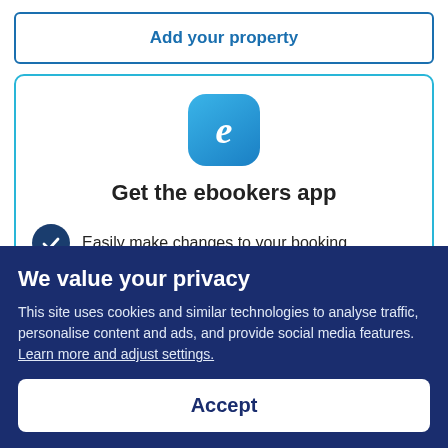[Figure (screenshot): Button labeled 'Add your property' with blue border and blue bold text on white background]
[Figure (screenshot): Card with ebookers app logo (blue rounded square with italic e), title 'Get the ebookers app', and a feature row with dark navy checkmark circle and text 'Easily make changes to your booking']
We value your privacy
This site uses cookies and similar technologies to analyse traffic, personalise content and ads, and provide social media features. Learn more and adjust settings.
[Figure (screenshot): Accept button — white rounded rectangle with bold navy text 'Accept']